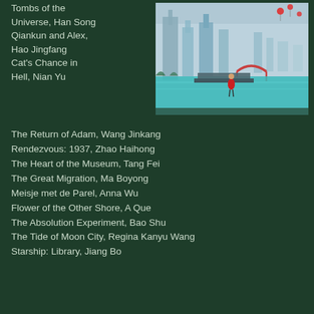Tombs of the Universe, Han Song
Qiankun and Alex, Hao Jingfang
Cat's Chance in Hell, Nian Yu
[Figure (illustration): Fantasy cityscape illustration with a girl in red dress standing near water, futuristic Chinese-style architecture with bridges and floating lanterns in teal/blue tones]
The Return of Adam, Wang Jinkang
Rendezvous: 1937, Zhao Haihong
The Heart of the Museum, Tang Fei
The Great Migration, Ma Boyong
Meisje met de Parel, Anna Wu
Flower of the Other Shore, A Que
The Absolution Experiment, Bao Shu
The Tide of Moon City, Regina Kanyu Wang
Starship: Library, Jiang Bo